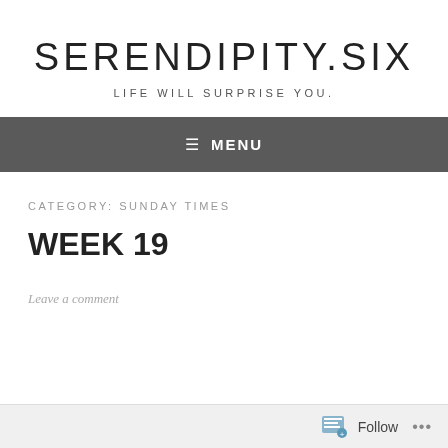SERENDIPITY.SIX
LIFE WILL SURPRISE YOU.
≡ MENU
CATEGORY: SUNDAY TIMES
WEEK 19
Leave a comment
Follow ...